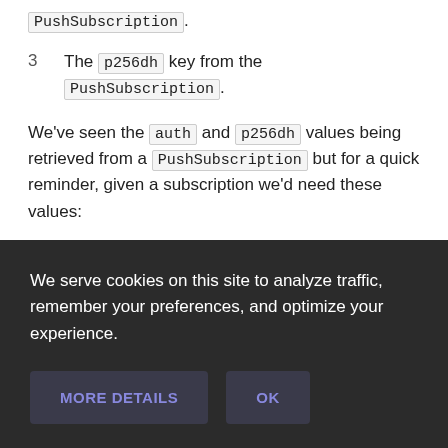PushSubscription.
3  The p256dh key from the PushSubscription.
We've seen the auth and p256dh values being retrieved from a PushSubscription but for a quick reminder, given a subscription we'd need these values:
We serve cookies on this site to analyze traffic, remember your preferences, and optimize your experience.
MORE DETAILS  OK